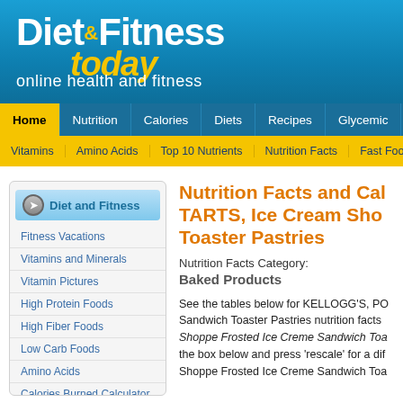Diet & Fitness today — online health and fitness
Home | Nutrition | Calories | Diets | Recipes | Glycemic | F
Vitamins | Amino Acids | Top 10 Nutrients | Nutrition Facts | Fast Food N
Diet and Fitness
Fitness Vacations
Vitamins and Minerals
Vitamin Pictures
High Protein Foods
High Fiber Foods
Low Carb Foods
Amino Acids
Calories Burned Calculator
Top 10 Nutrients
Nutrition Facts
Food sorted by nutrients
Nutrition Facts and Calories for POP TARTS, Ice Cream Shoppe Frosted Ice Creme Sandwich Toaster Pastries
Nutrition Facts Category:
Baked Products
See the tables below for KELLOGG'S, POP TARTS, Ice Cream Shoppe Frosted Ice Creme Sandwich Toaster Pastries nutrition facts and calories. Ice Shoppe Frosted Ice Creme Sandwich Toaster Pastries. Enter a quantity in the box below and press 'rescale' for a different amount. Ice Shoppe Frosted Ice Creme Sandwich Toaster Pastries.